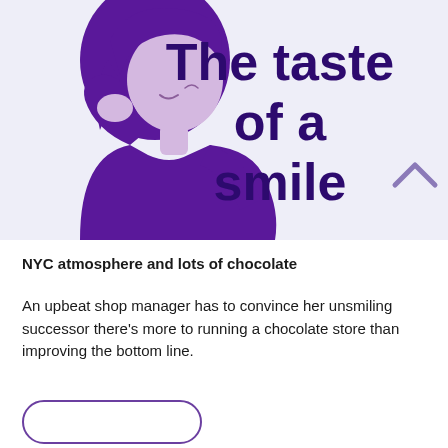[Figure (illustration): A light purple/lavender background banner. On the left, an illustration of a laughing woman with purple hair and purple clothing, head tilted back joyfully. On the right, bold dark purple text reading 'The taste of a smile'.]
NYC atmosphere and lots of chocolate
An upbeat shop manager has to convince her unsmiling successor there’s more to running a chocolate store than improving the bottom line.
[Figure (other): A rounded rectangle button outline in purple at the bottom of the page.]